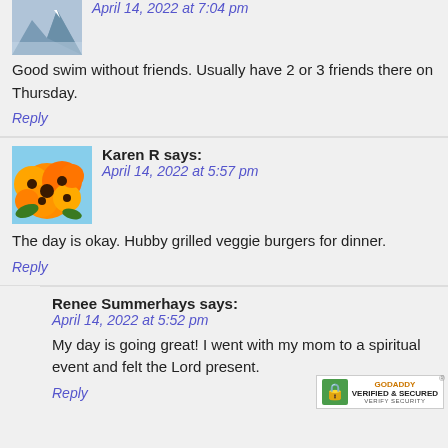April 14, 2022 at 7:04 pm
Good swim without friends. Usually have 2 or 3 friends there on Thursday.
Reply
Karen R says: April 14, 2022 at 5:57 pm
The day is okay. Hubby grilled veggie burgers for dinner.
Reply
Renee Summerhays says: April 14, 2022 at 5:52 pm
My day is going great! I went with my mom to a spiritual event and felt the Lord present.
Reply